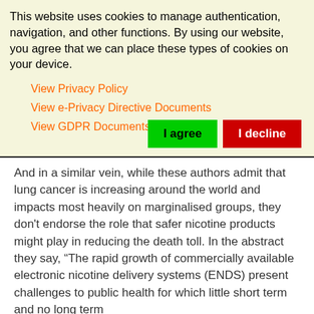This website uses cookies to manage authentication, navigation, and other functions. By using our website, you agree that we can place these types of cookies on your device.
View Privacy Policy
View e-Privacy Directive Documents
View GDPR Documents
And in a similar vein, while these authors admit that lung cancer is increasing around the world and impacts most heavily on marginalised groups, they don't endorse the role that safer nicotine products might play in reducing the death toll. In the abstract they say, “The rapid growth of commercially available electronic nicotine delivery systems (ENDS) present challenges to public health for which little short term and no long term